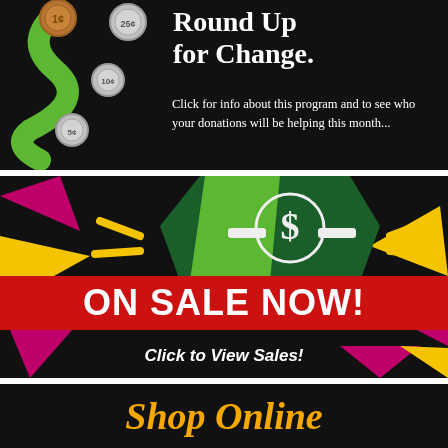[Figure (infographic): Black background banner with a green ribbon/streamer and coins (penny, nickel, quarter) graphic on the left, with text 'Round Up for Change.' and subtext about clicking for info about the program and donations.]
[Figure (infographic): Black background banner with colorful geometric shapes (green, yellow, magenta triangles), a green pentagon shape with a dollar sign emblem in white, a red banner reading 'ON SALE NOW!', and text 'Click to View Sales!']
[Figure (infographic): Black background banner with large gold/orange italic text reading 'Shop Online']